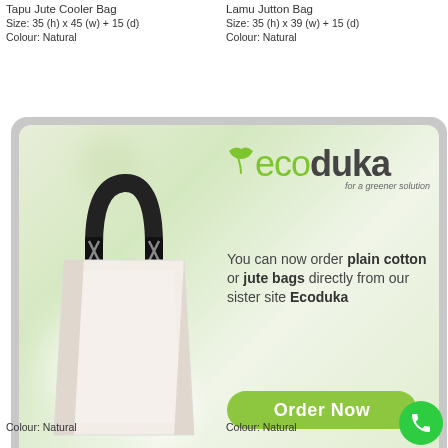Tapu Jute Cooler Bag
Size: 35 (h) x 45 (w) + 15 (d)
Colour: Natural
Lamu Jutton Bag
Size: 35 (h) x 39 (w) + 15 (d)
Colour: Natural
[Figure (illustration): Ecoduka advertisement banner featuring a white tote bag with black handles on a soft green bokeh background. The Ecoduka logo appears top right with green leaf icon and tagline 'for a greener solution'. Text reads: You can now order plain cotton or jute bags directly from our sister site Ecoduka. A green 'Order Now' button appears at bottom.]
Colour: Natural
Colour: Natural